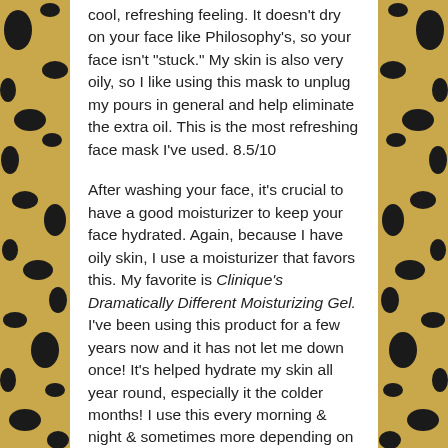cool, refreshing feeling. It doesn't dry on your face like Philosophy's, so your face isn't "stuck." My skin is also very oily, so I like using this mask to unplug my pours in general and help eliminate the extra oil. This is the most refreshing face mask I've used. 8.5/10
After washing your face, it's crucial to have a good moisturizer to keep your face hydrated. Again, because I have oily skin, I use a moisturizer that favors this. My favorite is Clinique's Dramatically Different Moisturizing Gel. I've been using this product for a few years now and it has not let me down once! It's helped hydrate my skin all year round, especially it the colder months! I use this every morning & night & sometimes more depending on the season we're in. 10/10